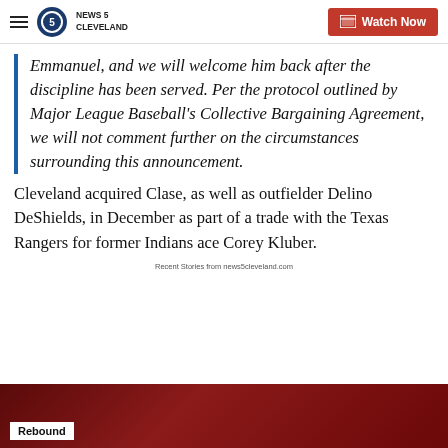NEWS 5 CLEVELAND | Watch Now
Emmanuel, and we will welcome him back after the discipline has been served. Per the protocol outlined by Major League Baseball's Collective Bargaining Agreement, we will not comment further on the circumstances surrounding this announcement.
Cleveland acquired Clase, as well as outfielder Delino DeShields, in December as part of a trade with the Texas Rangers for former Indians ace Corey Kluber.
Recent Stories from news5cleveland.com
[Figure (screenshot): Video thumbnail showing a dark red background with a 'Rebound' badge overlay at the bottom left]